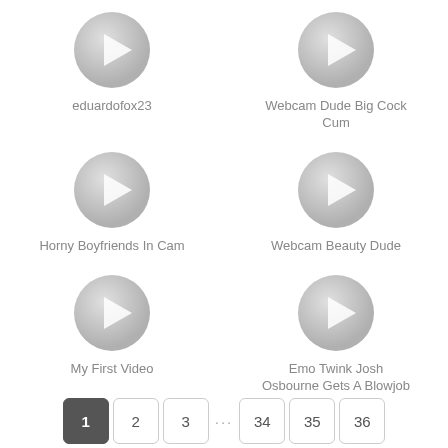[Figure (other): Video thumbnail placeholder with gray play button circle for eduardofox23]
eduardofox23
[Figure (other): Video thumbnail placeholder with gray play button circle for Webcam Dude Big Cock Cum]
Webcam Dude Big Cock Cum
[Figure (other): Video thumbnail placeholder with gray play button circle for Horny Boyfriends In Cam]
Horny Boyfriends In Cam
[Figure (other): Video thumbnail placeholder with gray play button circle for Webcam Beauty Dude]
Webcam Beauty Dude
[Figure (other): Video thumbnail placeholder with gray play button circle for My First Video]
My First Video
[Figure (other): Video thumbnail placeholder with gray play button circle for Emo Twink Josh Osbourne Gets A Blowjob]
Emo Twink Josh Osbourne Gets A Blowjob
1
2
3
...
34
35
36